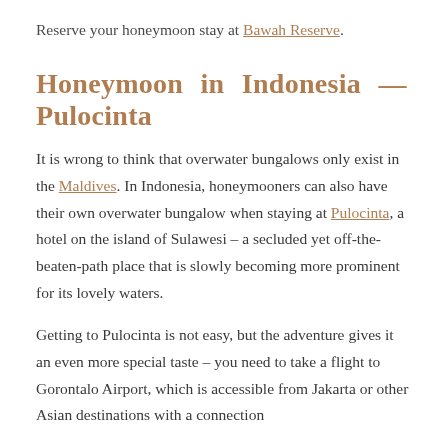Reserve your honeymoon stay at Bawah Reserve.
Honeymoon in Indonesia — Pulocinta
It is wrong to think that overwater bungalows only exist in the Maldives. In Indonesia, honeymooners can also have their own overwater bungalow when staying at Pulocinta, a hotel on the island of Sulawesi – a secluded yet off-the-beaten-path place that is slowly becoming more prominent for its lovely waters.
Getting to Pulocinta is not easy, but the adventure gives it an even more special taste – you need to take a flight to Gorontalo Airport, which is accessible from Jakarta or other Asian destinations with a connection